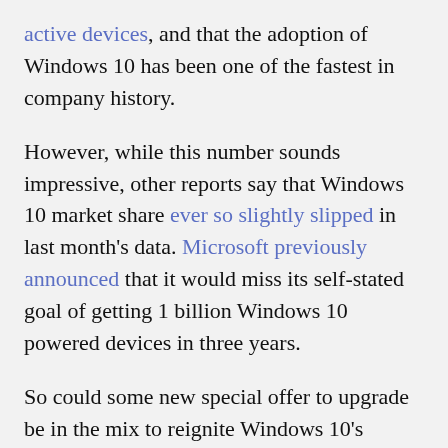active devices, and that the adoption of Windows 10 has been one of the fastest in company history.
However, while this number sounds impressive, other reports say that Windows 10 market share ever so slightly slipped in last month's data. Microsoft previously announced that it would miss its self-stated goal of getting 1 billion Windows 10 powered devices in three years.
So could some new special offer to upgrade be in the mix to reignite Windows 10's adoption? Maybe. Anything could be possible with the holiday season just around the corner. But is the Get Windows 10 app making a return? Most likely not. Microsoft issued very firm statements the free upgrade offer